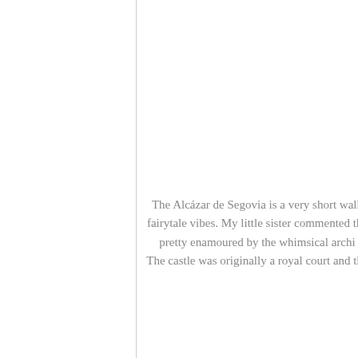The Alcázar de Segovia is a very short walk fairytale vibes. My little sister commented tha pretty enamoured by the whimsical archi The castle was originally a royal court and the